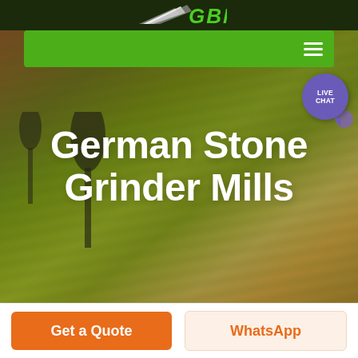GBM
[Figure (screenshot): Green navigation bar with hamburger menu icon (three white lines) on the right side, overlaid on top of a hero image of agricultural fields with a LIVE CHAT button in the top right corner]
German Stone Grinder Mills
Get a Quote
WhatsApp